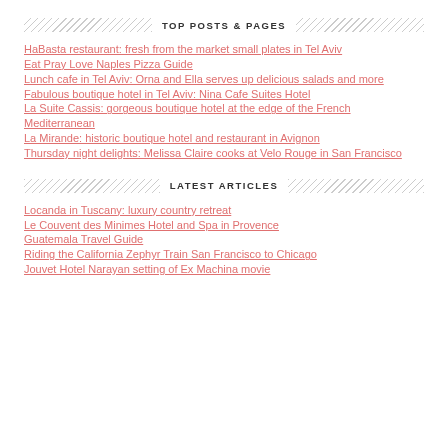TOP POSTS & PAGES
HaBasta restaurant: fresh from the market small plates in Tel Aviv
Eat Pray Love Naples Pizza Guide
Lunch cafe in Tel Aviv: Orna and Ella serves up delicious salads and more
Fabulous boutique hotel in Tel Aviv: Nina Cafe Suites Hotel
La Suite Cassis: gorgeous boutique hotel at the edge of the French Mediterranean
La Mirande: historic boutique hotel and restaurant in Avignon
Thursday night delights: Melissa Claire cooks at Velo Rouge in San Francisco
LATEST ARTICLES
Locanda in Tuscany: luxury country retreat
Le Couvent des Minimes Hotel and Spa in Provence
Guatemala Travel Guide
Riding the California Zephyr Train San Francisco to Chicago
Jouvet Hotel Narayan setting of Ex Machina movie